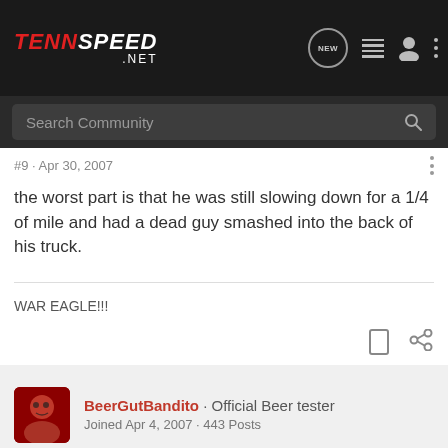[Figure (logo): TennSpeed.NET logo in red and white italic text on dark background nav bar with icons]
Search Community
#9 · Apr 30, 2007
the worst part is that he was still slowing down for a 1/4 of mile and had a dead guy smashed into the back of his truck.
WAR EAGLE!!!
BeerGutBandito · Official Beer tester
Joined Apr 4, 2007 · 443 Posts